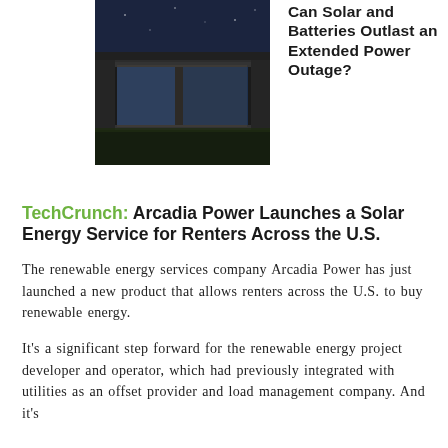[Figure (photo): Modern house exterior at night with large glass window/door revealing ocean view behind]
Can Solar and Batteries Outlast an Extended Power Outage?
TechCrunch: Arcadia Power Launches a Solar Energy Service for Renters Across the U.S.
The renewable energy services company Arcadia Power has just launched a new product that allows renters across the U.S. to buy renewable energy.
It's a significant step forward for the renewable energy project developer and operator, which had previously integrated with utilities as an offset provider and load management company. And it's